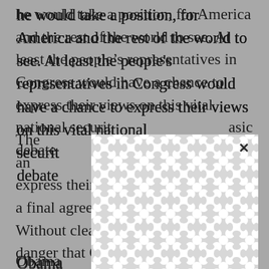he would take a position, for America and the rest of the world to see. At least the people's representatives in Congress would have a chance to express their views on this vital national security asic debate
[Figure (other): A white modal/dialog box with a decorative interlocking circle pattern background, overlaying the main text. Has an X close button in the upper right.]
Obama gime that m es sense t a final agreem
The amendment would let the American people express their expectations about what a final agreement should look like. Without clear guidance, there is the danger that Obama might